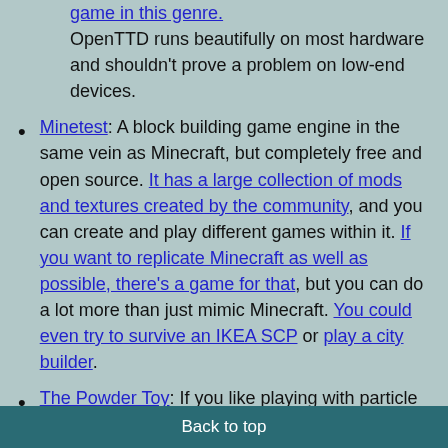game in this genre. OpenTTD runs beautifully on most hardware and shouldn't prove a problem on low-end devices.
Minetest: A block building game engine in the same vein as Minecraft, but completely free and open source. It has a large collection of mods and textures created by the community, and you can create and play different games within it. If you want to replicate Minecraft as well as possible, there's a game for that, but you can do a lot more than just mimic Minecraft. You could even try to survive an IKEA SCP or play a city builder.
The Powder Toy: If you like playing with particle simulations, this game fits your...
Back to top